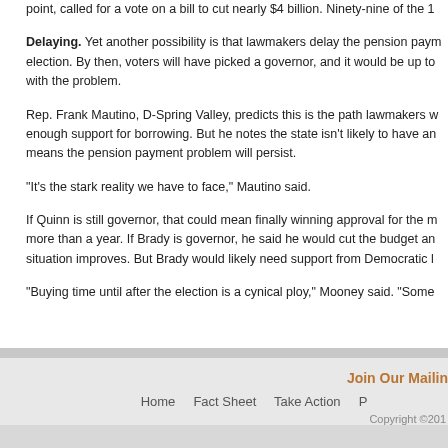point, called for a vote on a bill to cut nearly $4 billion. Ninety-nine of the 1...
Delaying. Yet another possibility is that lawmakers delay the pension paym... election. By then, voters will have picked a governor, and it would be up to... with the problem.
Rep. Frank Mautino, D-Spring Valley, predicts this is the path lawmakers w... enough support for borrowing. But he notes the state isn't likely to have an... means the pension payment problem will persist.
"It's the stark reality we have to face," Mautino said.
If Quinn is still governor, that could mean finally winning approval for the m... more than a year. If Brady is governor, he said he would cut the budget an... situation improves. But Brady would likely need support from Democratic l...
"Buying time until after the election is a cynical ploy," Mooney said. "Some...
Join Our Mailing | Home  Fact Sheet  Take Action | Copyright ©201...